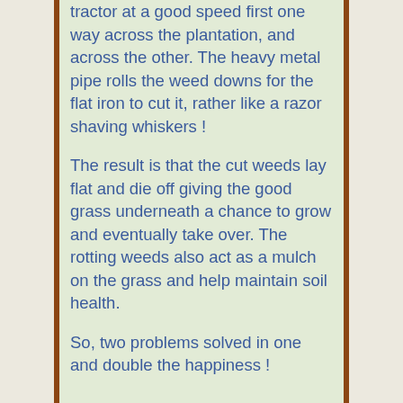tractor at a good speed first one way across the plantation, and across the other. The heavy metal pipe rolls the weed downs for the flat iron to cut it, rather like a razor shaving whiskers !
The result is that the cut weeds lay flat and die off giving the good grass underneath a chance to grow and eventually take over. The rotting weeds also act as a mulch on the grass and help maintain soil health.
So, two problems solved in one and double the happiness !